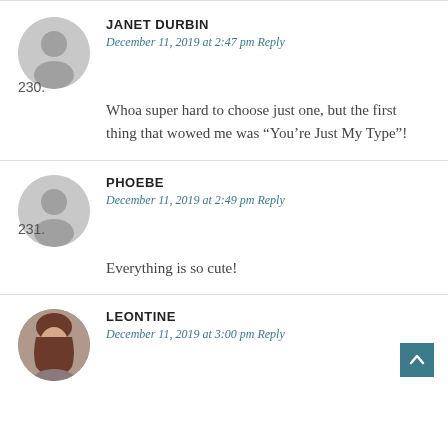230. JANET DURBIN — December 11, 2019 at 2:47 pm Reply — Whoa super hard to choose just one, but the first thing that wowed me was “You’re Just My Type”!
231. PHOEBE — December 11, 2019 at 2:49 pm Reply — Everything is so cute!
LEONTINE — December 11, 2019 at 3:00 pm Reply